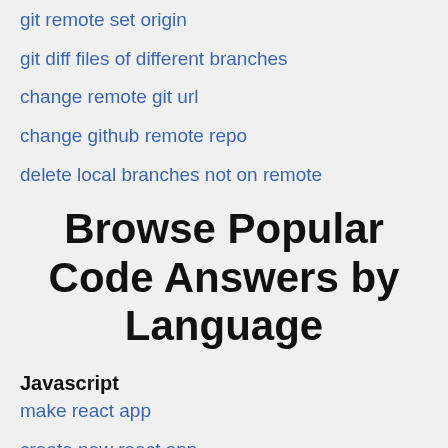git remote set origin
git diff files of different branches
change remote git url
change github remote repo
delete local branches not on remote
Browse Popular Code Answers by Language
Javascript
make react app
create new react app
node create react app
react start new app